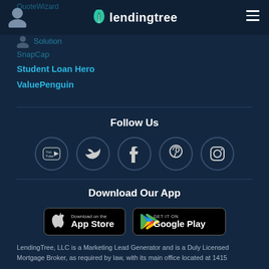[Figure (logo): LendingTree logo with green leaf icon and white text]
QuoteWizard
Solution
SnapCap
Student Loan Hero
ValuePenguin
Follow Us
[Figure (infographic): Social media icons: YouTube, Twitter, Facebook, Pinterest, Instagram — circular dark bordered icons]
Download Our App
[Figure (infographic): App Store and Google Play download buttons]
LendingTree, LLC is a Marketing Lead Generator and is a Duly Licensed Mortgage Broker, as required by law, with its main office located at 1415